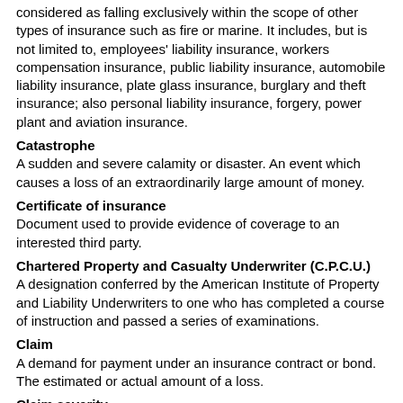considered as falling exclusively within the scope of other types of insurance such as fire or marine. It includes, but is not limited to, employees' liability insurance, workers compensation insurance, public liability insurance, automobile liability insurance, plate glass insurance, burglary and theft insurance; also personal liability insurance, forgery, power plant and aviation insurance.
Catastrophe
A sudden and severe calamity or disaster. An event which causes a loss of an extraordinarily large amount of money.
Certificate of insurance
Document used to provide evidence of coverage to an interested third party.
Chartered Property and Casualty Underwriter (C.P.C.U.)
A designation conferred by the American Institute of Property and Liability Underwriters to one who has completed a course of instruction and passed a series of examinations.
Claim
A demand for payment under an insurance contract or bond. The estimated or actual amount of a loss.
Claim severity
The average cost of each claim.
Classification
The underwriting or rating group into which a particular risk must be